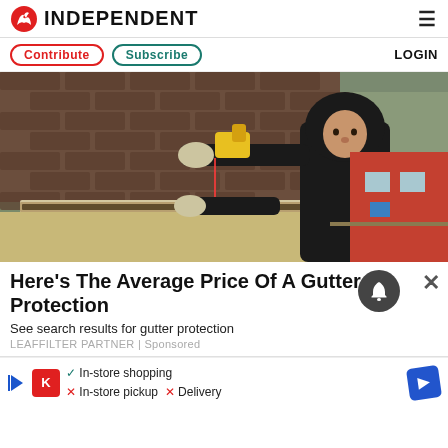INDEPENDENT
Contribute  Subscribe  LOGIN
[Figure (photo): A worker in a dark hoodie and gloves using a power tool while installing or cleaning a gutter on a roof with brown shingles, suburban background with trees.]
Here's The Average Price Of A Gutter Protection
See search results for gutter protection
LEAFFILTER PARTNER | Sponsored
In-store shopping  In-store pickup  Delivery